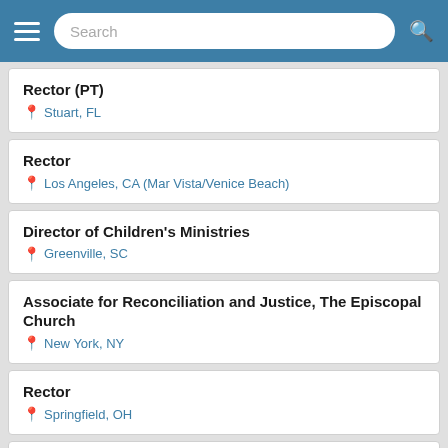Search
Rector (PT) — Stuart, FL
Rector — Los Angeles, CA (Mar Vista/Venice Beach)
Director of Children's Ministries — Greenville, SC
Associate for Reconciliation and Justice, The Episcopal Church — New York, NY
Rector — Springfield, OH
Director of Operations and Human Resources — New York, NY